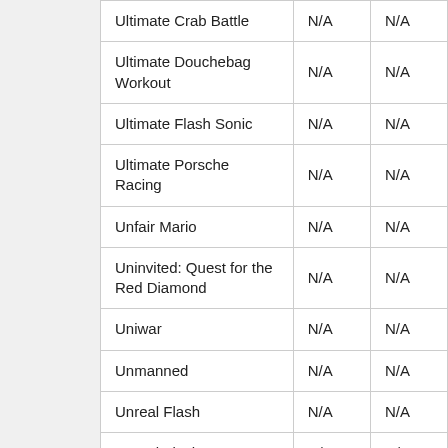| Ultimate Crab Battle | N/A | N/A |
| Ultimate Douchebag Workout | N/A | N/A |
| Ultimate Flash Sonic | N/A | N/A |
| Ultimate Porsche Racing | N/A | N/A |
| Unfair Mario | N/A | N/A |
| Uninvited: Quest for the Red Diamond | N/A | N/A |
| Uniwar | N/A | N/A |
| Unmanned | N/A | N/A |
| Unreal Flash | N/A | N/A |
| Unreal Flash 2007 | N/A | N/A |